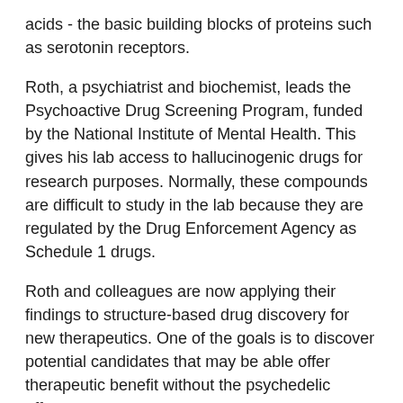acids - the basic building blocks of proteins such as serotonin receptors.
Roth, a psychiatrist and biochemist, leads the Psychoactive Drug Screening Program, funded by the National Institute of Mental Health. This gives his lab access to hallucinogenic drugs for research purposes. Normally, these compounds are difficult to study in the lab because they are regulated by the Drug Enforcement Agency as Schedule 1 drugs.
Roth and colleagues are now applying their findings to structure-based drug discovery for new therapeutics. One of the goals is to discover potential candidates that may be able offer therapeutic benefit without the psychedelic effects.
"The more we understand about how these drugs bind to the receptors, the better we'll understand their signaling properties," Skiniotis says. "This work doesn't give us the whole picture yet, but it's a fairly large piece of the puzzle."
###